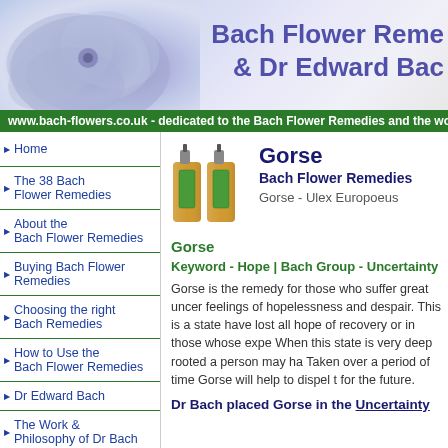[Figure (illustration): Website banner with purple flower on left and bold purple text 'Bach Flower Reme... & Dr Edward Bac...' on right, with pastel blue/white background]
www.bach-flowers.co.uk - dedicated to the Bach Flower Remedies and the work
Home
The 38 Bach Flower Remedies
About the Bach Flower Remedies
Buying Bach Flower Remedies
Choosing the right Bach Remedies
How to Use the Bach Flower Remedies
Dr Edward Bach
The Work & Philosophy of Dr Bach
[Figure (photo): Two amber glass dropper bottles with green labels for Bach Flower Remedies]
Gorse
Bach Flower Remedies
Gorse - Ulex Europoeus
Gorse
Keyword - Hope | Bach Group - Uncertainty
Gorse is the remedy for those who suffer great uncer... feelings of hopelessness and despair. This is a state ... have lost all hope of recovery or in those whose expe... When this state is very deep rooted a person may ha... Taken over a period of time Gorse will help to dispel t... for the future.
Dr Bach placed Gorse in the Uncertainty